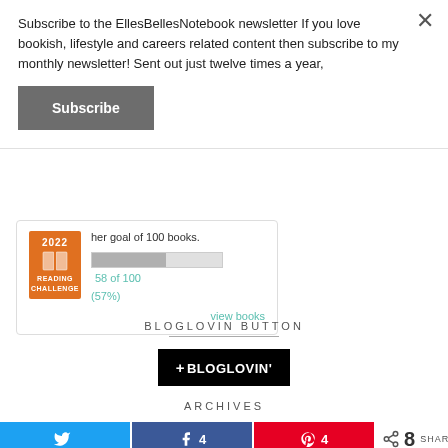Subscribe to the EllesBellesNotebook newsletter If you love bookish, lifestyle and careers related content then subscribe to my monthly newsletter! Sent out just twelve times a year,
Subscribe
[Figure (infographic): 2022 Reading Challenge badge (orange) with book icon, showing progress: her goal of 100 books. Progress bar showing 58 of 100 (57%). View books link.]
BLOGLOVIN BUTTON
[Figure (logo): Bloglovin button: black rectangle with '+BLOGLOVIN'' text in white]
ARCHIVES
[Figure (infographic): Social share bar with Twitter button, Facebook button showing 4, Pinterest button showing 4, and total shares count of 8 SHARES]